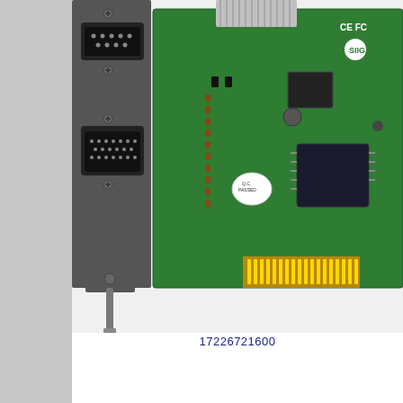[Figure (photo): A SIIG brand PCIe expansion card with two DB-25 parallel/serial ports on a bracket, a ribbon cable connector, CE FC certification marks, and a green PCB with chips and components visible.]
17226721600